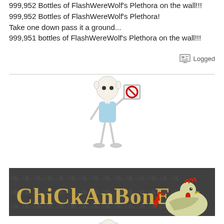999,952 Bottles of FlashWereWolf's Plethora on the wall!!!
999,952 Bottles of FlashWereWolf's Plethora!
Take one down pass it a ground...
999,951 bottles of FlashWereWolf's Plethora on the wall!!!
Logged
[Figure (illustration): Stick figure character in light blue shirt holding something to its head, with a red no-symbol on a paper]
[Figure (illustration): Banner image with dark damask pattern background showing text 'ChickanBone' in tan/gold letters and a cartoon rooster on the right side]
[Figure (illustration): Small stick figure character in light blue shirt, same as the top avatar]